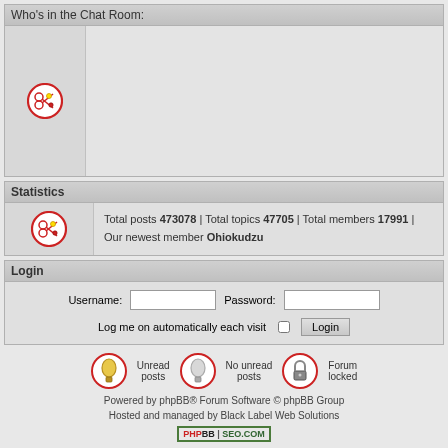Who's in the Chat Room:
[Figure (illustration): Scissors/tool icon in a circular border]
Statistics
[Figure (illustration): Scissors/tool icon in a circular border]
Total posts 473078 | Total topics 47705 | Total members 17991 | Our newest member Ohiokudzu
Login
Username: [input] Password: [input] Log me on automatically each visit [checkbox] Login
[Figure (illustration): Bell icon - Unread posts]
Unread posts
[Figure (illustration): Bell icon - No unread posts]
No unread posts
[Figure (illustration): Lock icon - Forum locked]
Forum locked
Powered by phpBB® Forum Software © phpBB Group
Hosted and managed by Black Label Web Solutions
[Figure (logo): PHPBB SEO.COM badge]